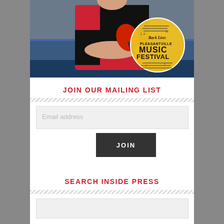[Figure (photo): A man in a red and black Donic table tennis shirt holding a red ping pong paddle with arms crossed, standing in front of a table tennis table. A circular yellow logo overlay reads 'Back Live: Pleasantville Music Festival' with musical notes.]
JOIN OUR MAILING LIST
Email address
JOIN
SEARCH INSIDE PRESS